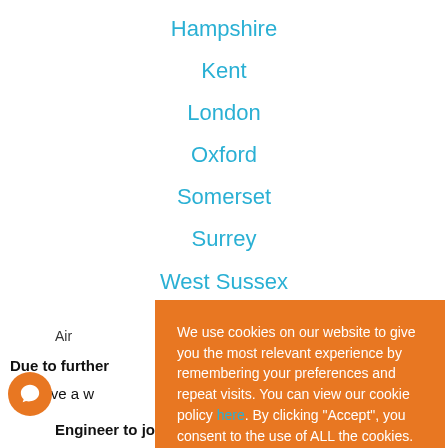Hampshire
Kent
London
Oxford
Somerset
Surrey
West Sussex
Air
Due to further
iria have a w
Engineer to join our team
We use cookies on our website to give you the most relevant experience by remembering your preferences and repeat visits. You can view our cookie policy here. By clicking “Accept”, you consent to the use of ALL the cookies.
Cookie settings
ACCEPT